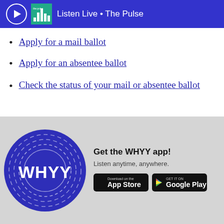Listen Live • The Pulse
Apply for a mail ballot
Apply for an absentee ballot
Check the status of your mail or absentee ballot
[Figure (logo): WHYY circular logo in blue with concentric arc lines and WHYY text in white]
Get the WHYY app!
Listen anytime, anywhere.
[Figure (other): Download on the App Store button]
[Figure (other): Get it on Google Play button]